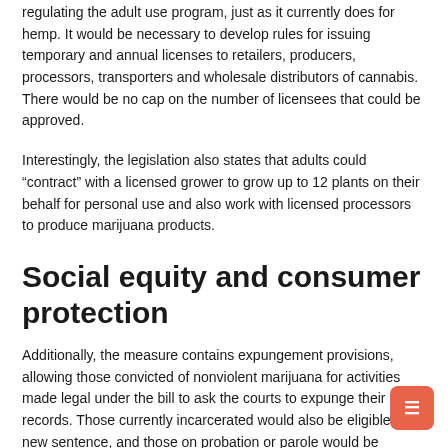regulating the adult use program, just as it currently does for hemp. It would be necessary to develop rules for issuing temporary and annual licenses to retailers, producers, processors, transporters and wholesale distributors of cannabis. There would be no cap on the number of licensees that could be approved.
Interestingly, the legislation also states that adults could “contract” with a licensed grower to grow up to 12 plants on their behalf for personal use and also work with licensed processors to produce marijuana products.
Social equity and consumer protection
Additionally, the measure contains expungement provisions, allowing those convicted of nonviolent marijuana for activities made legal under the bill to ask the courts to expunge their records. Those currently incarcerated would also be eligible for a new sentence, and those on probation or parole would be allowed to use marijuana.
Police would not be allowed to use the smell of marijuana alone to